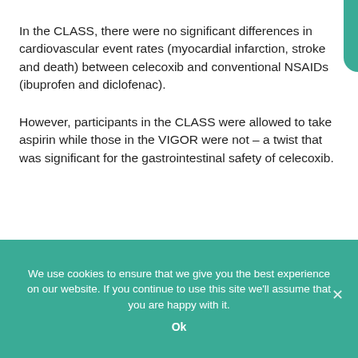In the CLASS, there were no significant differences in cardiovascular event rates (myocardial infarction, stroke and death) between celecoxib and conventional NSAIDs (ibuprofen and diclofenac).
However, participants in the CLASS were allowed to take aspirin while those in the VIGOR were not – a twist that was significant for the gastrointestinal safety of celecoxib.
We use cookies to ensure that we give you the best experience on our website. If you continue to use this site we'll assume that you are happy with it.
Ok